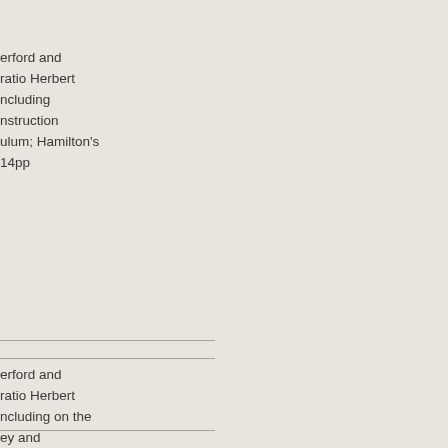erford and
ratio Herbert
ncluding
nstruction
ulum; Hamilton's
14pp
erford and
ratio Herbert
ncluding on the
ey and
. Col Michael
son, Col Thomas
l, Lt Col
rses despatched